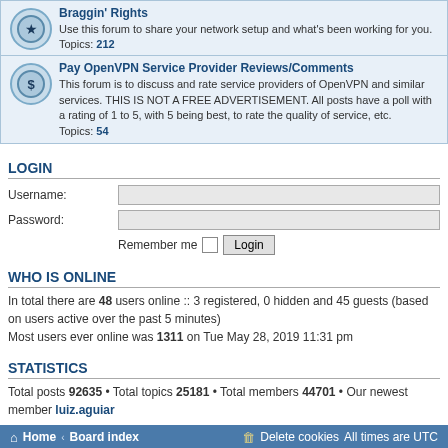Braggin' Rights - Use this forum to share your network setup and what's been working for you. Topics: 212
Pay OpenVPN Service Provider Reviews/Comments - This forum is to discuss and rate service providers of OpenVPN and similar services. THIS IS NOT A FREE ADVERTISEMENT. All posts have a poll with a rating of 1 to 5, with 5 being best, to rate the quality of service, etc. Topics: 54
LOGIN
Username:
Password:
Remember me  Login
WHO IS ONLINE
In total there are 48 users online :: 3 registered, 0 hidden and 45 guests (based on users active over the past 5 minutes)
Most users ever online was 1311 on Tue May 28, 2019 11:31 pm
STATISTICS
Total posts 92635 • Total topics 25181 • Total members 44701 • Our newest member luiz.aguiar
Home · Board index    Delete cookies  All times are UTC
Powered by phpBB® Forum Software © phpBB Limited